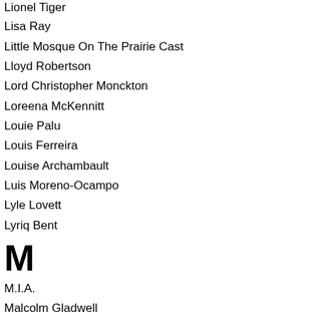Lionel Tiger
Lisa Ray
Little Mosque On The Prairie Cast
Lloyd Robertson
Lord Christopher Monckton
Loreena McKennitt
Louie Palu
Louis Ferreira
Louise Archambault
Luis Moreno-Ocampo
Lyle Lovett
Lyriq Bent
M
M.I.A.
Malcolm Gladwell